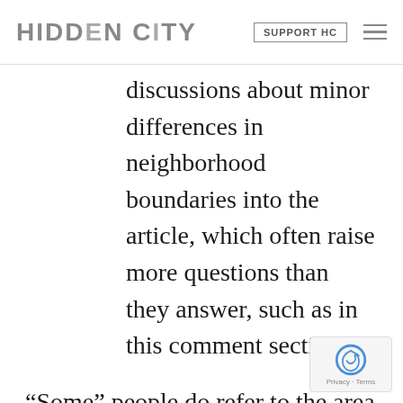HIDDEN CITY | SUPPORT HC
discussions about minor differences in neighborhood boundaries into the article, which often raise more questions than they answer, such as in this comment section.
“Some” people do refer to the area as the Brickyard, others do not. Many who cared about St. Francis considered themselves a part of that neighborhood, others did not.